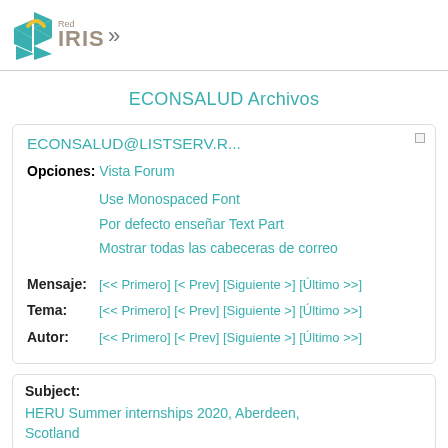[Figure (logo): Red IRIS logo with teal and yellow geometric shapes and the text 'Red IRIS' with a right chevron]
ECONSALUD Archivos
ECONSALUD@LISTSERV.R...
Opciones: Vista Forum
Use Monospaced Font
Por defecto enseñar Text Part
Mostrar todas las cabeceras de correo
Mensaje: [<< Primero] [< Prev] [Siguiente >] [Último >>]
Tema: [<< Primero] [< Prev] [Siguiente >] [Último >>]
Autor: [<< Primero] [< Prev] [Siguiente >] [Último >>]
Subject:
HERU Summer internships 2020, Aberdeen, Scotland